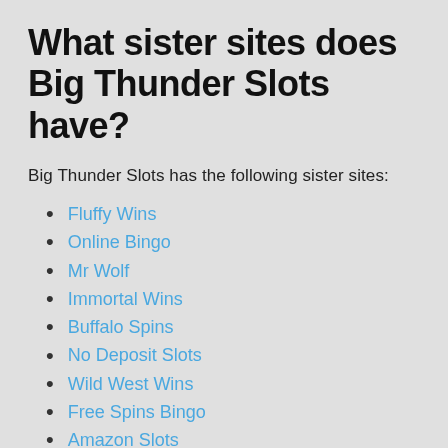What sister sites does Big Thunder Slots have?
Big Thunder Slots has the following sister sites:
Fluffy Wins
Online Bingo
Mr Wolf
Immortal Wins
Buffalo Spins
No Deposit Slots
Wild West Wins
Free Spins Bingo
Amazon Slots
CrushWins
NewSpins
Rainbow Spins
Spin Hill Casino